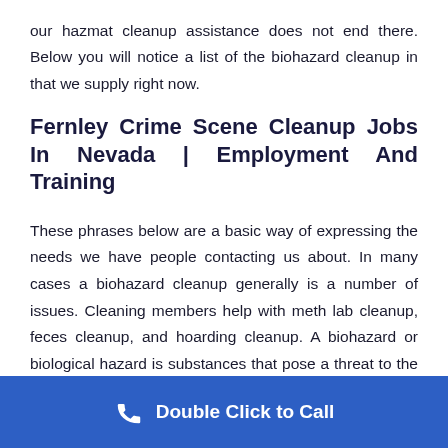our hazmat cleanup assistance does not end there. Below you will notice a list of the biohazard cleanup in that we supply right now.
Fernley Crime Scene Cleanup Jobs In Nevada | Employment And Training
These phrases below are a basic way of expressing the needs we have people contacting us about. In many cases a biohazard cleanup generally is a number of issues. Cleaning members help with meth lab cleanup, feces cleanup, and hoarding cleanup. A biohazard or biological hazard is substances that pose a threat to the healthiness
Double Click to Call